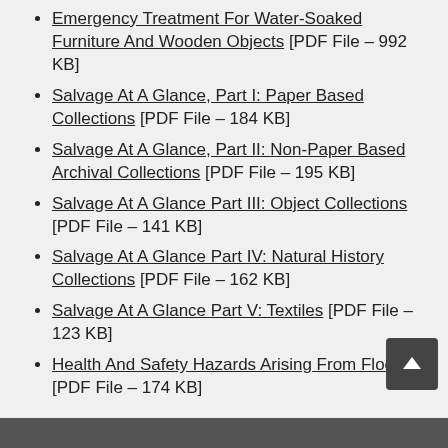Emergency Treatment For Water-Soaked Furniture And Wooden Objects [PDF File – 992 KB]
Salvage At A Glance, Part I: Paper Based Collections [PDF File – 184 KB]
Salvage At A Glance, Part II: Non-Paper Based Archival Collections [PDF File – 195 KB]
Salvage At A Glance Part III: Object Collections [PDF File – 141 KB]
Salvage At A Glance Part IV: Natural History Collections [PDF File – 162 KB]
Salvage At A Glance Part V: Textiles [PDF File – 123 KB]
Health And Safety Hazards Arising From Floods [PDF File – 174 KB]